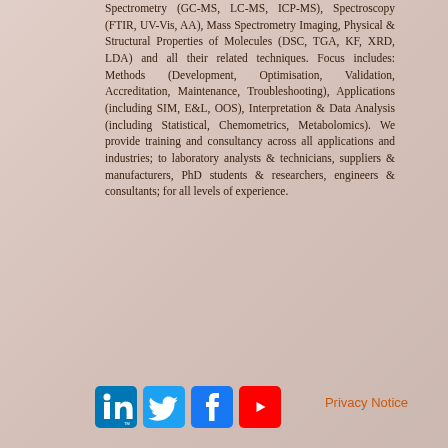Spectrometry (GC-MS, LC-MS, ICP-MS), Spectroscopy (FTIR, UV-Vis, AA), Mass Spectrometry Imaging, Physical & Structural Properties of Molecules (DSC, TGA, KF, XRD, LDA) and all their related techniques. Focus includes: Methods (Development, Optimisation, Validation, Accreditation, Maintenance, Troubleshooting), Applications (including SIM, E&L, OOS), Interpretation & Data Analysis (including Statistical, Chemometrics, Metabolomics). We provide training and consultancy across all applications and industries; to laboratory analysts & technicians, suppliers & manufacturers, PhD students & researchers, engineers & consultants; for all levels of experience.
[Figure (illustration): Social media icons row: LinkedIn (blue square with 'in' logo), Twitter (light blue square with bird logo), Facebook (blue square with 'f' logo), YouTube (red square with play button logo)]
Privacy Notice